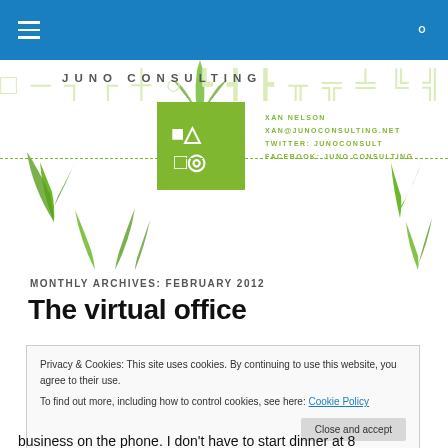Navigation bar with hamburger menu and search icon
[Figure (logo): Juno Consulting header with green logo box, decorative plant imagery, contact info: XAN NELSON, XAN@JUNOCONSULTING.NET, TWITTER: JUNOCONSULT, FACEBOOK: JUNO CONSULTING]
MONTHLY ARCHIVES: FEBRUARY 2012
The virtual office
Privacy & Cookies: This site uses cookies. By continuing to use this website, you agree to their use.
To find out more, including how to control cookies, see here: Cookie Policy
Close and accept
business on the phone. I don't have to start dinner at 8